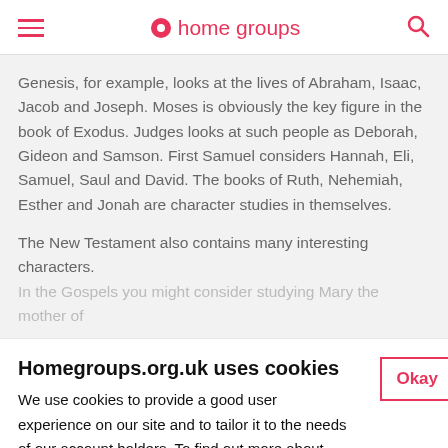home groups
Genesis, for example, looks at the lives of Abraham, Isaac, Jacob and Joseph. Moses is obviously the key figure in the book of Exodus. Judges looks at such people as Deborah, Gideon and Samson. First Samuel considers Hannah, Eli, Samuel, Saul and David. The books of Ruth, Nehemiah, Esther and Jonah are character studies in themselves.

The New Testament also contains many interesting characters. In the Gospels you might consider studying Mary the mother of
Homegroups.org.uk uses cookies
We use cookies to provide a good user experience on our site and to tailor it to the needs of our account holders. To find out more about cookies visit our full cookie policy